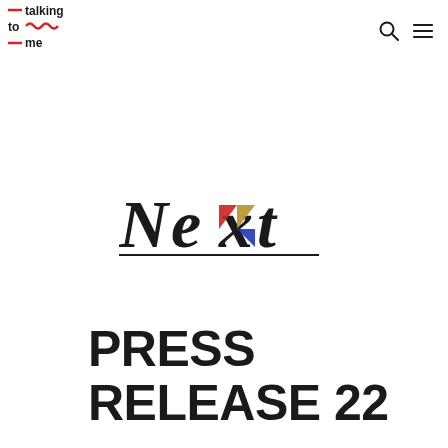[Figure (logo): Talking to me logo — red horizontal lines and wavy line with text 'talking to me']
[Figure (logo): Next logo in bold stylized serif font with colored triangular accents (red, blue, gold) on the letters, underlined]
PRESS RELEASE 22